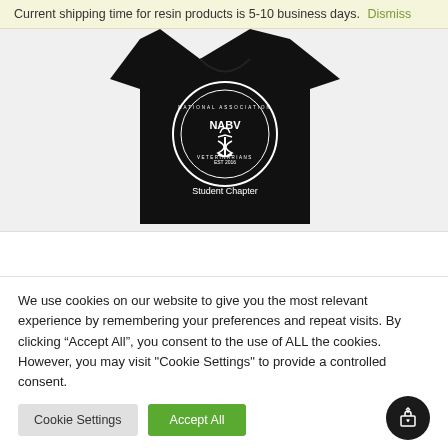Current shipping time for resin products is 5-10 business days. Dismiss
[Figure (photo): Black t-shirt with NABV (National Association of Black Veterinarians) Student Chapter circular logo in white on the front chest area, displayed on a white background.]
We use cookies on our website to give you the most relevant experience by remembering your preferences and repeat visits. By clicking “Accept All”, you consent to the use of ALL the cookies. However, you may visit "Cookie Settings" to provide a controlled consent.
Cookie Settings
Accept All